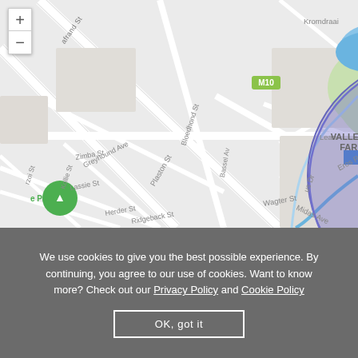[Figure (map): Google-style street map showing Valley Farm AH, Boardwalk Manor Estate, Boardwalk Villas neighborhoods in Pretoria, South Africa. Shows streets including Plaston St, Bloedhond St, Greyhound Ave, Zimba St, Lassie St, Herder St, Ridgeback St, Wagter St, Eros Rd, Skukuza St, Midas Ave. Route markers M10 and M11 visible. A blue-purple semi-transparent circle is overlaid on the map centered near M11 marker. A park with tree icon labeled 'e Park' visible at lower left. A blue water feature (pond/lake) visible in upper area.]
We use cookies to give you the best possible experience. By continuing, you agree to our use of cookies. Want to know more? Check out our Privacy Policy and Cookie Policy
OK, got it